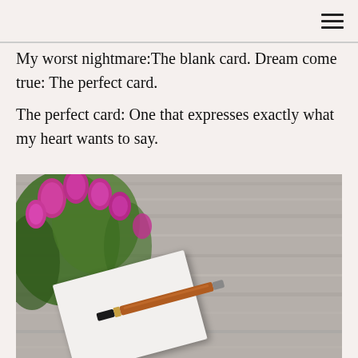My worst nightmare:The blank card. Dream come true: The perfect card.
The perfect card: One that expresses exactly what my heart wants to say.
[Figure (photo): A fountain pen resting on a blank white card or notecard, placed on a rustic grey wooden surface, with a bouquet of pink/magenta tulips with green stems and leaves in the upper left area of the image.]